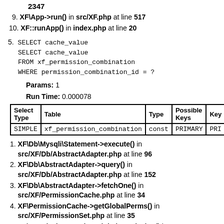2347
9. XF\App->run() in src/XF.php at line 517
10. XF::runApp() in index.php at line 20
5. SELECT cache_value
   FROM xf_permission_combination
   WHERE permission_combination_id = ?
Params: 1
Run Time: 0.000078
| Select Type | Table | Type | Possible Keys | Key |
| --- | --- | --- | --- | --- |
| SIMPLE | xf_permission_combination | const | PRIMARY | PRI |
1. XF\Db\Mysqli\Statement->execute() in src/XF/Db/AbstractAdapter.php at line 96
2. XF\Db\AbstractAdapter->query() in src/XF/Db/AbstractAdapter.php at line 152
3. XF\Db\AbstractAdapter->fetchOne() in src/XF/PermissionCache.php at line 34
4. XF\PermissionCache->getGlobalPerms() in src/XF/PermissionSet.php at line 35
5. XF\PermissionSet->hasGlobalPermission() in src/XF/Entity/User.php at line 1197
6. XF\Entity\User->hasPermission() in